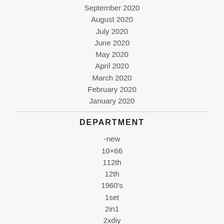September 2020
August 2020
July 2020
June 2020
May 2020
April 2020
March 2020
February 2020
January 2020
DEPARTMENT
-new
10×66
112th
12th
1960's
1set
2in1
2xdiy
3-tier